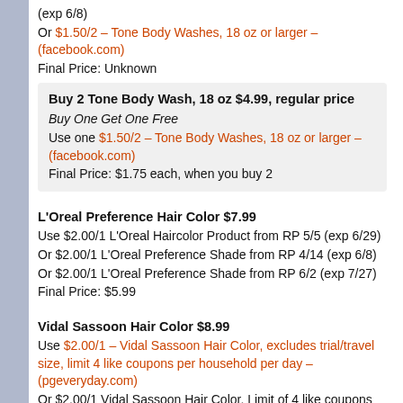(exp 6/8)
Or $1.50/2 – Tone Body Washes, 18 oz or larger – (facebook.com)
Final Price: Unknown
Buy 2 Tone Body Wash, 18 oz $4.99, regular price
Buy One Get One Free
Use one $1.50/2 – Tone Body Washes, 18 oz or larger – (facebook.com)
Final Price: $1.75 each, when you buy 2
L'Oreal Preference Hair Color $7.99
Use $2.00/1 L'Oreal Haircolor Product from RP 5/5 (exp 6/29)
Or $2.00/1 L'Oreal Preference Shade from RP 4/14 (exp 6/8)
Or $2.00/1 L'Oreal Preference Shade from RP 6/2 (exp 7/27)
Final Price: $5.99
Vidal Sassoon Hair Color $8.99
Use $2.00/1 – Vidal Sassoon Hair Color, excludes trial/travel size, limit 4 like coupons per household per day – (pgeveryday.com)
Or $2.00/1 Vidal Sassoon Hair Color, Limit of 4 like coupons per household per day from PG 6/2 (exp 6/30)
Final Price: $6.99